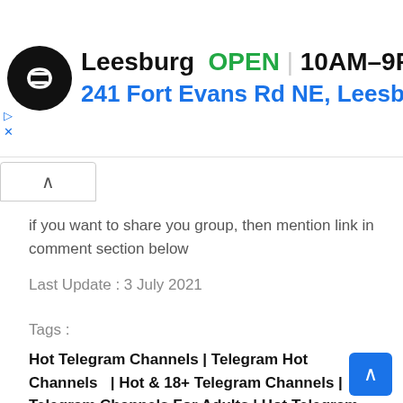[Figure (screenshot): Ad banner for a store in Leesburg showing logo, OPEN status 10AM-9PM, address 241 Fort Evans Rd NE, Leesb, and navigation arrow icon]
if you want to share you group, then mention link in comment section below
Last Update : 3 July 2021
Tags :
Hot Telegram Channels | Telegram Hot Channels  | Hot & 18+ Telegram Channels | Telegram Channels For Adults | Hot Telegram group